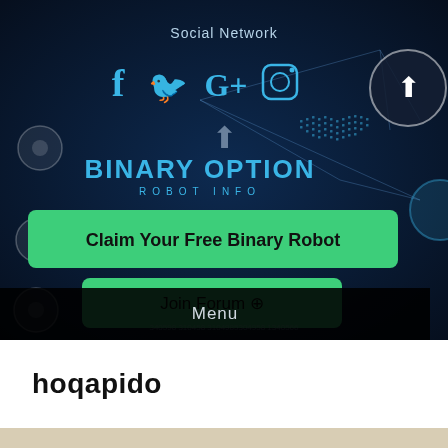[Figure (screenshot): Binary Option Robot Info website screenshot showing social network icons (Facebook, Twitter, Google+, Instagram), BINARY OPTION ROBOT INFO text, a green 'Claim Your Free Binary Robot' button, a green 'Join Forum' button, and a dark Menu bar, all on a dark blue tech/network background]
hoqapido